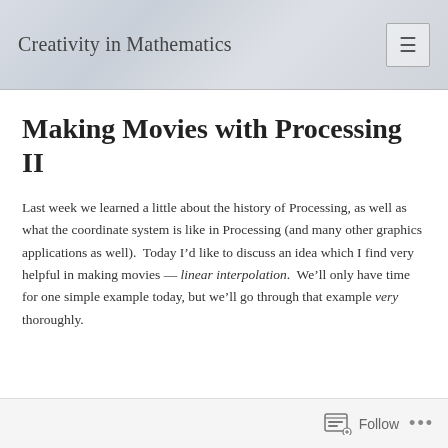Creativity in Mathematics
Making Movies with Processing II
Last week we learned a little about the history of Processing, as well as what the coordinate system is like in Processing (and many other graphics applications as well).  Today I’d like to discuss an idea which I find very helpful in making movies — linear interpolation.  We’ll only have time for one simple example today, but we’ll go through that example very thoroughly.
Follow